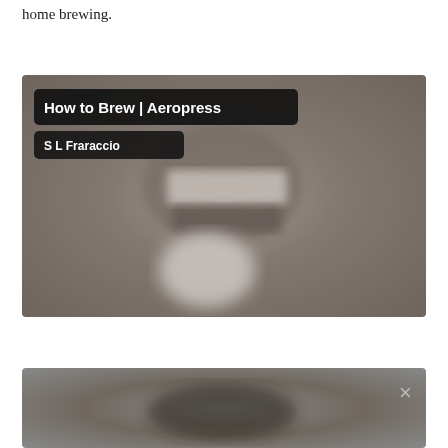home brewing.
[Figure (screenshot): Video thumbnail for 'How to Brew | Aeropress' by S L Fraraccio, showing a blurred close-up image of an Aeropress coffee maker on a gray background, with a dark title badge and author badge overlaid.]
[Figure (screenshot): Partial video thumbnail showing a blurred dark image with a close button (×) in the upper right corner.]